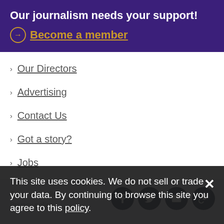Our journalism needs your support!
Become a member
Our Directors
Advertising
Contact Us
Got a story?
Jobs
Comment policy
Privacy policy
This site uses cookies. We do not sell or trade your data. By continuing to browse this site you agree to this policy.